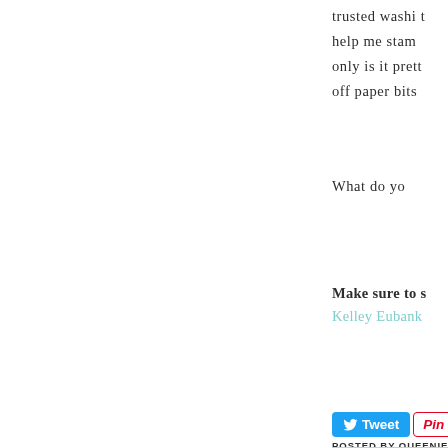trusted washi t help me stam only is it prett off paper bits
What do yo
Make sure to s
Kelley Eubank
[Figure (screenshot): Tweet and Pin it social sharing buttons]
POSTED BY QUEENIE